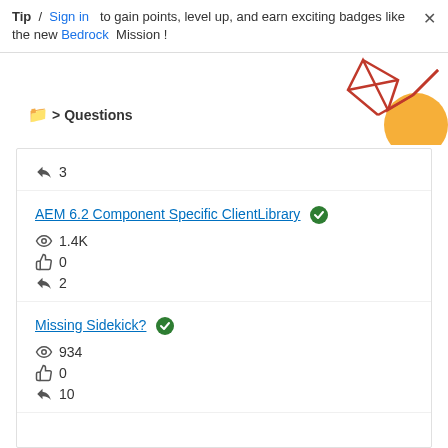Tip / Sign in to gain points, level up, and earn exciting badges like the new Bedrock Mission!
Questions
↩ 3
AEM 6.2 Component Specific ClientLibrary [solved]
👁 1.4K
👍 0
↩ 2
Missing Sidekick? [solved]
👁 934
👍 0
↩ 10